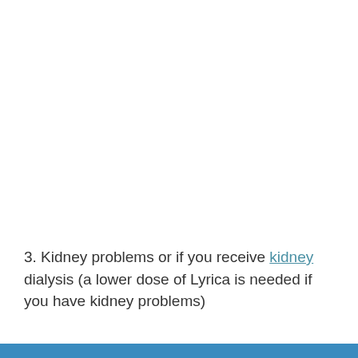3. Kidney problems or if you receive kidney dialysis (a lower dose of Lyrica is needed if you have kidney problems)